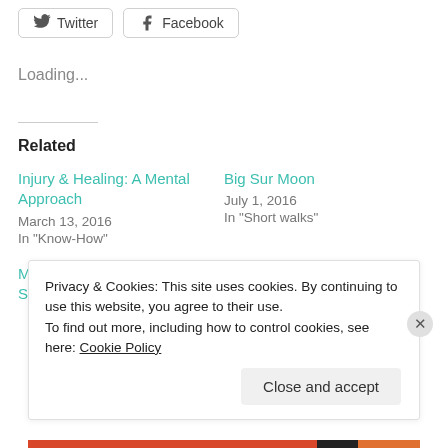[Figure (other): Social share buttons for Twitter and Facebook]
Loading...
Related
Injury & Healing: A Mental Approach
March 13, 2016
In "Know-How"
Big Sur Moon
July 1, 2016
In "Short walks"
Mount St Helens: A 16-Hour Solo Circuit
Privacy & Cookies: This site uses cookies. By continuing to use this website, you agree to their use.
To find out more, including how to control cookies, see here: Cookie Policy
Close and accept